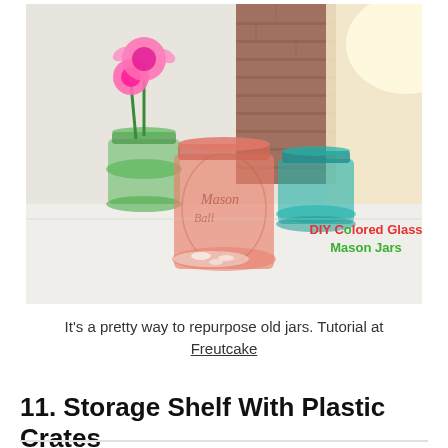[Figure (photo): Photo of three DIY colored glass mason jars on a white surface with a brick wall in the background. A green jar holds pink flowers, a salmon/coral jar is in the center, and a teal jar is on the right. Text overlay reads 'DIY Colored Glass Mason Jars' in pink and teal.]
It's a pretty way to repurpose old jars. Tutorial at Freutcake
11. Storage Shelf With Plastic Crates